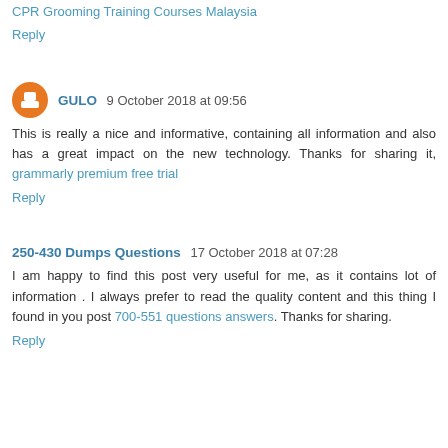CPR Grooming Training Courses Malaysia
Reply
GULO 9 October 2018 at 09:56
This is really a nice and informative, containing all information and also has a great impact on the new technology. Thanks for sharing it, grammarly premium free trial
Reply
250-430 Dumps Questions 17 October 2018 at 07:28
I am happy to find this post very useful for me, as it contains lot of information . I always prefer to read the quality content and this thing I found in you post 700-551 questions answers. Thanks for sharing.
Reply